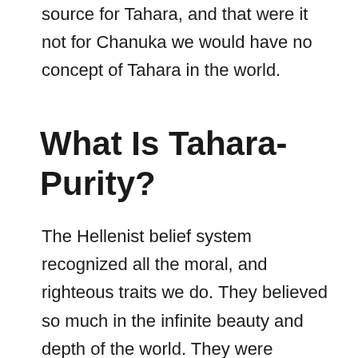source for Tahara, and that were it not for Chanuka we would have no concept of Tahara in the world.
What Is Tahara-Purity?
The Hellenist belief system recognized all the moral, and righteous traits we do. They believed so much in the infinite beauty and depth of the world. They were amazed at man's capacity, and the wonder of the world G-d created. On all this